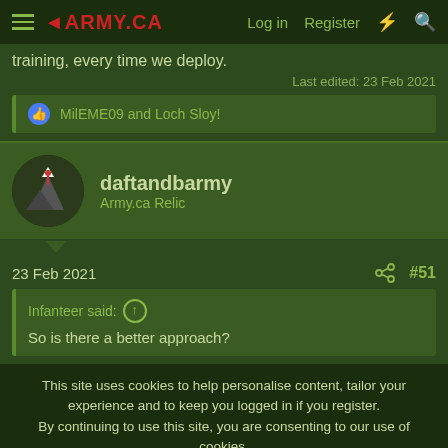ARMY.CA  Log in  Register
training, every time we deploy.
Last edited: 23 Feb 2021
MilEME09 and Loch Sloy!
daftandbarmy
Army.ca Relic
23 Feb 2021  #51
Infanteer said:
So is there a better approach?
This site uses cookies to help personalise content, tailor your experience and to keep you logged in if you register.
By continuing to use this site, you are consenting to our use of cookies.
Accept  Learn more...